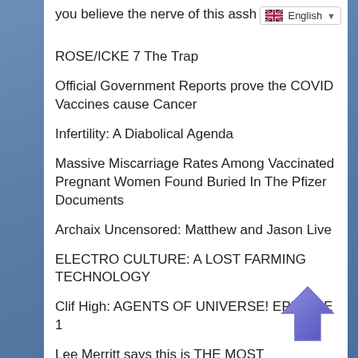you believe the nerve of this assh
English
ROSE/ICKE 7 The Trap
Official Government Reports prove the COVID Vaccines cause Cancer
Infertility: A Diabolical Agenda
Massive Miscarriage Rates Among Vaccinated Pregnant Women Found Buried In The Pfizer Documents
Archaix Uncensored: Matthew and Jason Live
ELECTRO CULTURE: A LOST FARMING TECHNOLOGY
Clif High: AGENTS OF UNIVERSE! EPISODE 1
Lee Merritt says this is THE MOST IMPORTANT interview that she's done in the entire Covid debacle.
MESSAGE TO THE UNVACCINATED:
[Figure (illustration): Blue/purple upward-pointing arrow icon at bottom right of panel]